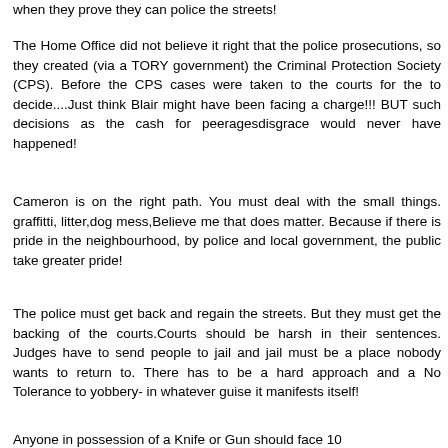when they prove they can police the streets!
The Home Office did not believe it right that the police prosecutions, so they created (via a TORY government) the Criminal Protection Society (CPS). Before the CPS cases were taken to the courts for the to decide....Just think Blair might have been facing a charge!!! BUT such decisions as the cash for peeragesdisgrace would never have happened!
Cameron is on the right path. You must deal with the small things. graffitti, litter,dog mess,Believe me that does matter. Because if there is pride in the neighbourhood, by police and local government, the public take greater pride!
The police must get back and regain the streets. But they must get the backing of the courts.Courts should be harsh in their sentences. Judges have to send people to jail and jail must be a place nobody wants to return to. There has to be a hard approach and a No Tolerance to yobbery- in whatever guise it manifests itself!
Anyone in possession of a Knife or Gun should face 10